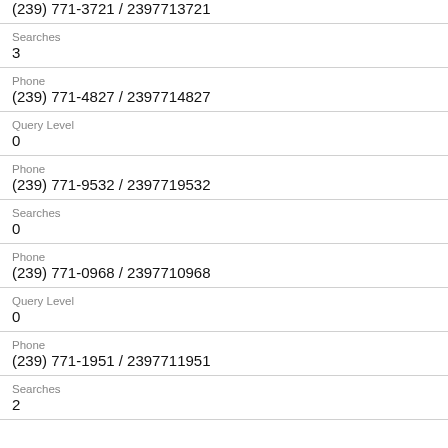(239) 771-3721 / 2397713721
Searches
3
Phone
(239) 771-4827 / 2397714827
Query Level
0
Phone
(239) 771-9532 / 2397719532
Searches
0
Phone
(239) 771-0968 / 2397710968
Query Level
0
Phone
(239) 771-1951 / 2397711951
Searches
2